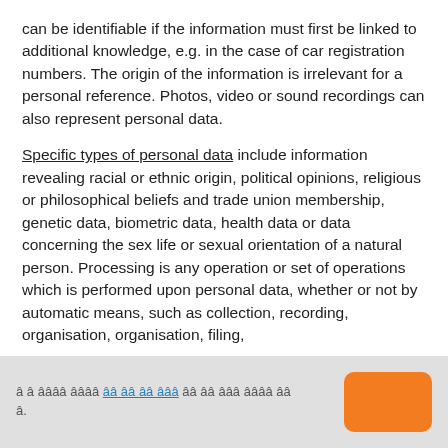can be identifiable if the information must first be linked to additional knowledge, e.g. in the case of car registration numbers. The origin of the information is irrelevant for a personal reference. Photos, video or sound recordings can also represent personal data.
Specific types of personal data include information revealing racial or ethnic origin, political opinions, religious or philosophical beliefs and trade union membership, genetic data, biometric data, health data or data concerning the sex life or sexual orientation of a natural person. Processing is any operation or set of operations which is performed upon personal data, whether or not by automatic means, such as collection, recording, organisation, organisation, filing,
[scrambled Korean/CJK text with link and button]